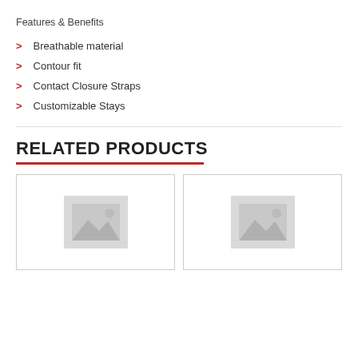Features & Benefits
Breathable material
Contour fit
Contact Closure Straps
Customizable Stays
RELATED PRODUCTS
[Figure (photo): Placeholder image for related product 1]
[Figure (photo): Placeholder image for related product 2]